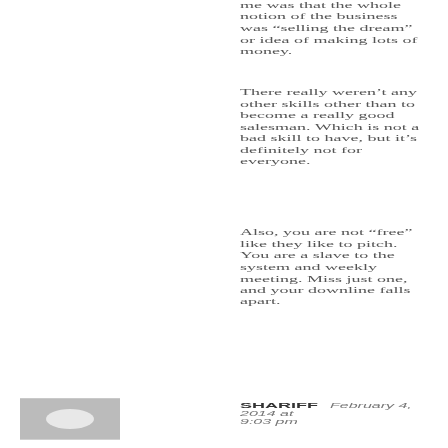me was that the whole notion of the business was “selling the dream” or idea of making lots of money.
There really weren’t any other skills other than to become a really good salesman. Which is not a bad skill to have, but it’s definitely not for everyone.
Also, you are not “free” like they like to pitch. You are a slave to the system and weekly meeting. Miss just one, and your downline falls apart.
Reply
SHARIFF  February 4, 2014 at 9:03 pm